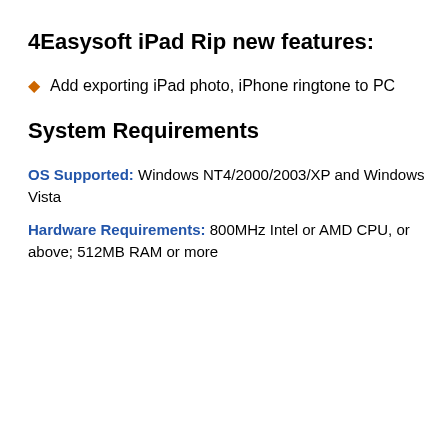4Easysoft iPad Rip new features:
Add exporting iPad photo, iPhone ringtone to PC
System Requirements
OS Supported: Windows NT4/2000/2003/XP and Windows Vista
Hardware Requirements: 800MHz Intel or AMD CPU, or above; 512MB RAM or more